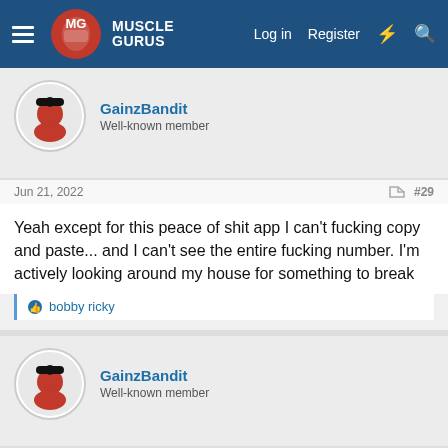Muscle Gurus — Log in | Register
GainzBandit
Well-known member
Jun 21, 2022  #29
Yeah except for this peace of shit app I can't fucking copy and paste... and I can't see the entire fucking number. I'm actively looking around my house for something to break
bobby ricky
GainzBandit
Well-known member
Jun 21, 2022  #30
So I went to the actual website instead of the app. I found who I sent to... but the source says its not them. How the fuck that